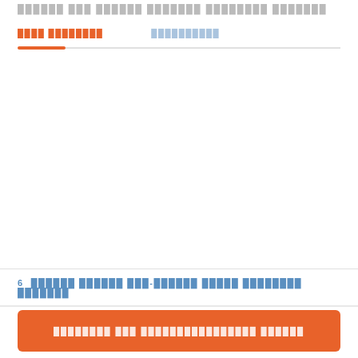██████ ███ ██████ ███████ ████████ ███████
████ ████████     ██████████
6  ██████ ██████ ███-██████ █████ ████████ ███████
████████ ███ ████████████████ ██████